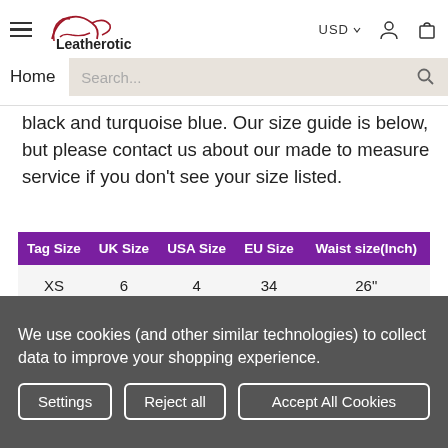Leatherotics — Navigation header with Home link and search bar
black and turquoise blue. Our size guide is below, but please contact us about our made to measure service if you don't see your size listed.
| Tag Size | UK Size | USA Size | EU Size | Waist size(Inch) |
| --- | --- | --- | --- | --- |
| XS | 6 | 4 | 34 | 26" |
| S | 8 | 6 | 36 | 28" |
| M | 10 | 8 | 38 | 30" |
We use cookies (and other similar technologies) to collect data to improve your shopping experience.